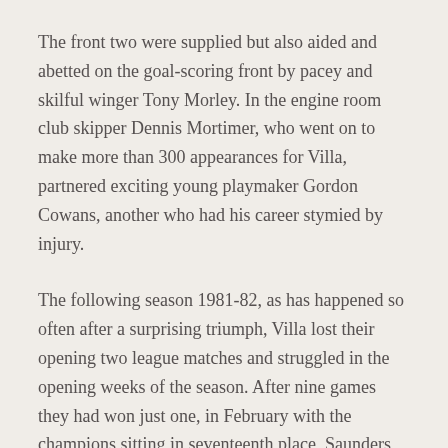The front two were supplied but also aided and abetted on the goal-scoring front by pacey and skilful winger Tony Morley. In the engine room club skipper Dennis Mortimer, who went on to make more than 300 appearances for Villa, partnered exciting young playmaker Gordon Cowans, another who had his career stymied by injury.
The following season 1981-82, as has happened so often after a surprising triumph, Villa lost their opening two league matches and struggled in the opening weeks of the season. After nine games they had won just one, in February with the champions sitting in seventeenth place, Saunders quit with rumours of a contract dispute and the potential return of Doug Ellis being highlighted as potential explanations, but Saunders never provided any further illumination of why he chose to leave the championship winning team that he had forged. If that wasn't shocking enough for Villa fans, just days later Saunders was unveiled as the new man in charge at hated rivals, Birmingham